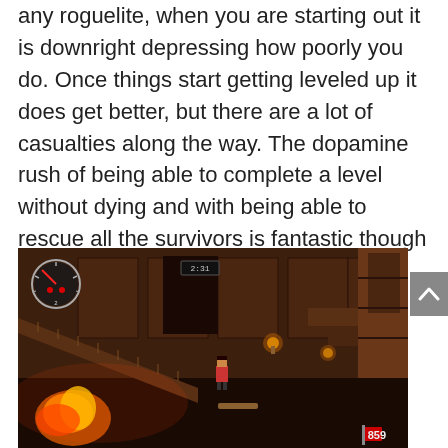any roguelite, when you are starting out it is downright depressing how poorly you do. Once things start getting leveled up it does get better, but there are a lot of casualties along the way. The dopamine rush of being able to complete a level without dying and with being able to rescue all the survivors is fantastic though and makes it all worth it.
[Figure (screenshot): A video game screenshot showing a side-scrolling action game with a character in the center of a dark, fiery environment with escalators and wooden structures. HUD elements visible including a speedometer/health gauge in top-left, a timer reading '2:31' in the top center, and a score of 859 in the bottom right with a red flag icon.]